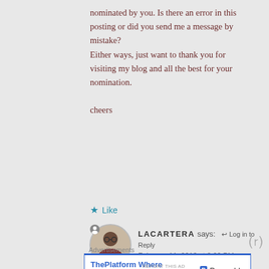nominated by you. Is there an error in this posting or did you send me a message by mistake?
Either ways, just want to thank you for visiting my blog and all the best for your nomination.

cheers
Like
LACARTERA says: Log in to Reply
February 11, 2013 at 8:09 PM
Advertisements
[Figure (screenshot): Advertisement banner: ThePlatform Where WordPress Works Best — Pressable]